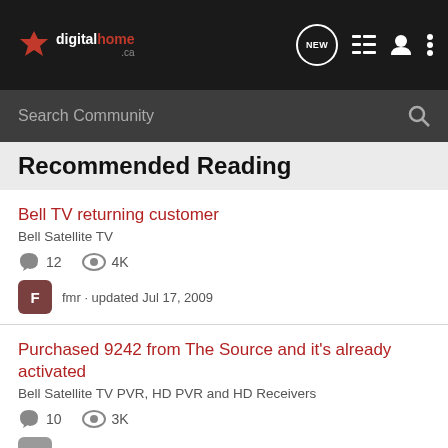digitalhome.ca — NEW, list, user, menu icons
Search Community
Recommended Reading
Bell TV returning customer
Bell Satellite TV
12 comments · 4K views
fmr · updated Jul 17, 2009
Purchased 9242 from The Source and it's already activated
Bell Satellite TV PVR, HD PVR and HD Receivers
10 comments · 3K views
burn_quist · updated Oct 20, 2010